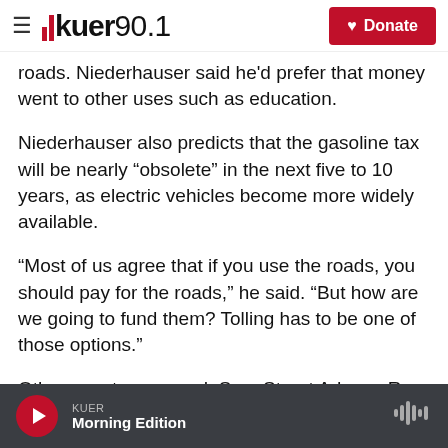KUER 90.1 — Donate
roads. Niederhauser said he'd prefer that money went to other uses such as education.
Niederhauser also predicts that the gasoline tax will be nearly “obsolete” in the next five to 10 years, as electric vehicles become more widely available.
“Most of us agree that if you use the roads, you should pay for the roads,” he said. “But how are we going to fund them? Tolling has to be one of those options.”
Other senators agreed. Sen. Stuart Adams, R-
KUER — Morning Edition